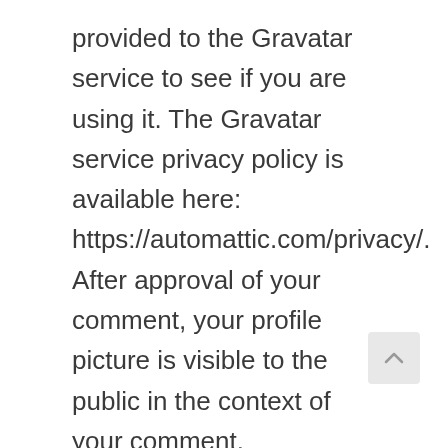provided to the Gravatar service to see if you are using it. The Gravatar service privacy policy is available here: https://automattic.com/privacy/. After approval of your comment, your profile picture is visible to the public in the context of your comment.
Media
If you upload images to the website, you should avoid uploading images with embedded location data (EXIF GPS) included. Visitors to the website can download and